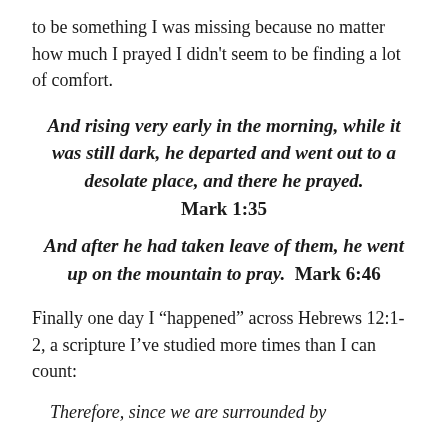to be something I was missing because no matter how much I prayed I didn’t seem to be finding a lot of comfort.
And rising very early in the morning, while it was still dark, he departed and went out to a desolate place, and there he prayed. Mark 1:35
And after he had taken leave of them, he went up on the mountain to pray. Mark 6:46
Finally one day I “happened” across Hebrews 12:1-2, a scripture I’ve studied more times than I can count:
Therefore, since we are surrounded by...